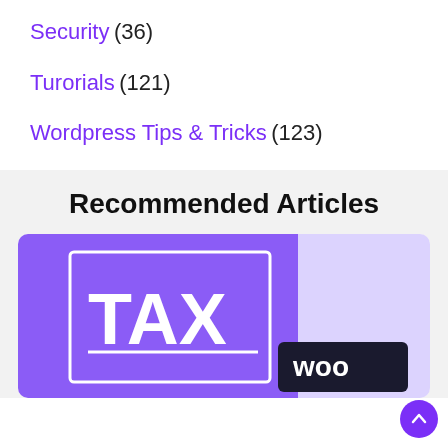Security (36)
Turorials (121)
Wordpress Tips & Tricks (123)
Recommended Articles
[Figure (illustration): A purple-themed illustration showing the word TAX in large bold white letters with a decorative white rectangle border, and a WooCommerce logo at the bottom right, set against a purple gradient background.]